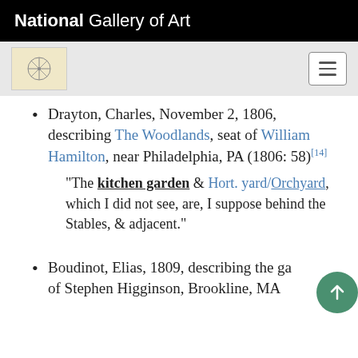National Gallery of Art
Drayton, Charles, November 2, 1806, describing The Woodlands, seat of William Hamilton, near Philadelphia, PA (1806: 58)[14]
“The kitchen garden & Hort. yard/Orchyard, which I did not see, are, I suppose behind the Stables, & adjacent.”
Boudinot, Elias, 1809, describing the ga... of Stephen Higginson, Brookline, MA